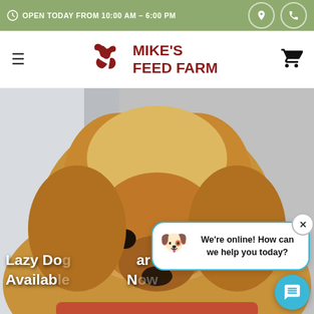OPEN TODAY FROM 10:00 AM – 6:00 PM
MIKE'S FEED FARM
[Figure (photo): Close-up photo of a golden retriever dog looking at the camera with soft, blurred indoor background]
Lazy Do... ar Availab... N...
We're online! How can we help you today?